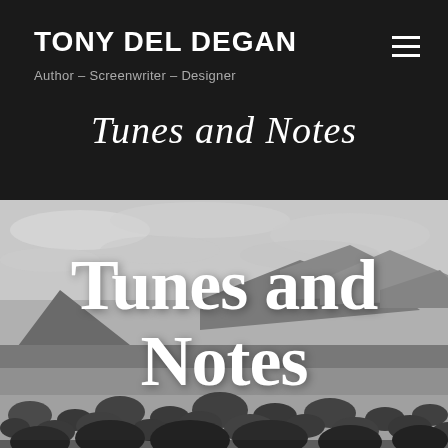TONY DEL DEGAN
Author – Screenwriter – Designer
Tunes and Notes
[Figure (photo): Black and white photograph of a desert landscape with rocky mountains in the background, sparse desert scrub vegetation in the foreground, and cloudy sky. Large bold white text overlay reads 'Tunes and Notes' in a retro serif/display font.]